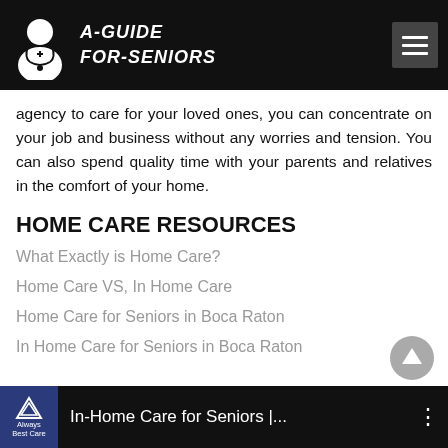A-Guide For-Seniors
agency to care for your loved ones, you can concentrate on your job and business without any worries and tension. You can also spend quality time with your parents and relatives in the comfort of your home.
HOME CARE RESOURCES
What Exactly is Home Care?
Home Care VS, In Home Care
Home Care for Seniors in Boca Raton
In Home Care for Seniors in Boca Raton
[Figure (screenshot): Video thumbnail showing 'In-Home Care for Seniors |...' with Always Best Care logo badge on black background]